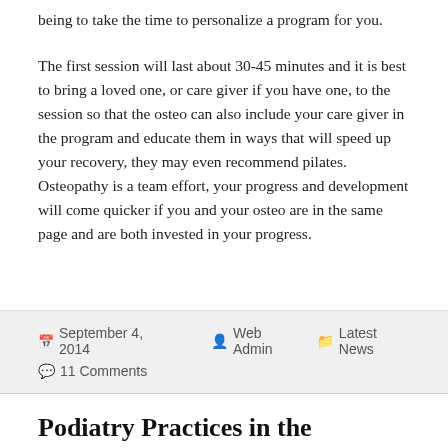being to take the time to personalize a program for you.
The first session will last about 30-45 minutes and it is best to bring a loved one, or care giver if you have one, to the session so that the osteo can also include your care giver in the program and educate them in ways that will speed up your recovery, they may even recommend pilates. Osteopathy is a team effort, your progress and development will come quicker if you and your osteo are in the same page and are both invested in your progress.
September 4, 2014   Web Admin   Latest News   11 Comments
Podiatry Practices in the